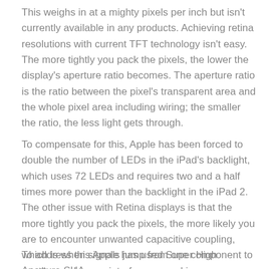This weighs in at a mighty pixels per inch but isn't currently available in any products. Achieving retina resolutions with current TFT technology isn't easy. The more tightly you pack the pixels, the lower the display's aperture ratio becomes. The aperture ratio is the ratio between the pixel's transparent area and the whole pixel area including wiring; the smaller the ratio, the less light gets through.
To compensate for this, Apple has been forced to double the number of LEDs in the iPad's backlight, which uses 72 LEDs and requires two and a half times more power than the backlight in the iPad 2. The other issue with Retina displays is that the more tightly you pack the pixels, the more likely you are to encounter unwanted capacitive coupling, which is when signals jump from one component to another and cause interference and image artefacts.
To address this Apple has used Super High Aperture SHA